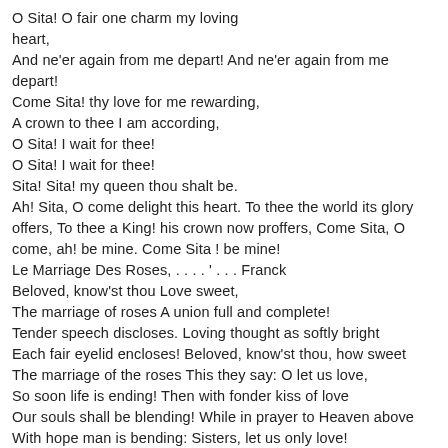O Sita! O fair one charm my loving heart,
And ne'er again from me depart! And ne'er again from me depart!
Come Sita! thy love for me rewarding,
A crown to thee I am according,
O Sita! I wait for thee!
O Sita! I wait for thee!
Sita! Sita! my queen thou shalt be.
Ah! Sita, O come delight this heart. To thee the world its glory offers, To thee a King! his crown now proffers, Come Sita, O come, ah! be mine. Come Sita ! be mine!
Le Marriage Des Roses, . . . . ' . . . Franck
Beloved, know'st thou Love sweet,
The marriage of roses A union full and complete!
Tender speech discloses. Loving thought as softly bright
Each fair eyelid encloses! Beloved, know'st thou, how sweet
The marriage of the roses This they say: O let us love,
So soon life is ending! Then with fonder kiss of love
Our souls shall be blending! While in prayer to Heaven above
With hope man is bending: Sisters, let us only love!
So soon life is ending!
My love, oh hearken to me,